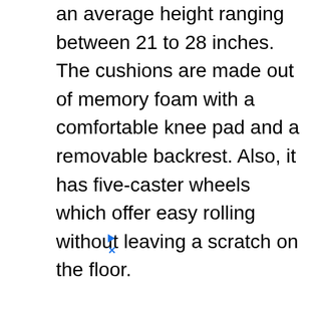an average height ranging between 21 to 28 inches. The cushions are made out of memory foam with a comfortable knee pad and a removable backrest. Also, it has five-caster wheels which offer easy rolling without leaving a scratch on the floor.
[Figure (screenshot): CVS Pharmacy advertisement showing In-store shopping, Drive-through, and Delivery options with checkmarks, CVS logo, and navigation icon]